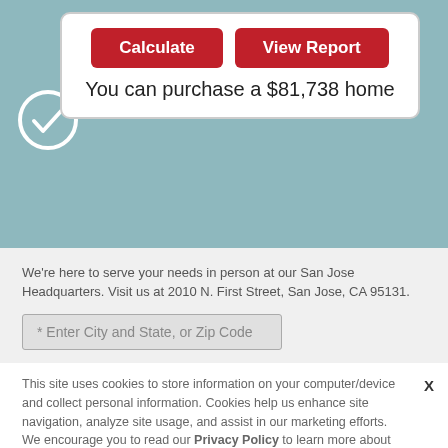[Figure (screenshot): Red 'Calculate' button]
[Figure (screenshot): Red 'View Report' button]
You can purchase a $81,738 home
We're here to serve your needs in person at our San Jose Headquarters. Visit us at 2010 N. First Street, San Jose, CA 95131.
* Enter City and State, or Zip Code
This site uses cookies to store information on your computer/device and collect personal information. Cookies help us enhance site navigation, analyze site usage, and assist in our marketing efforts.  We encourage you to read our Privacy Policy to learn more about how we use cookies and how we collect and use visitor data. By continuing to use this site, you consent to the placement of these cookies.